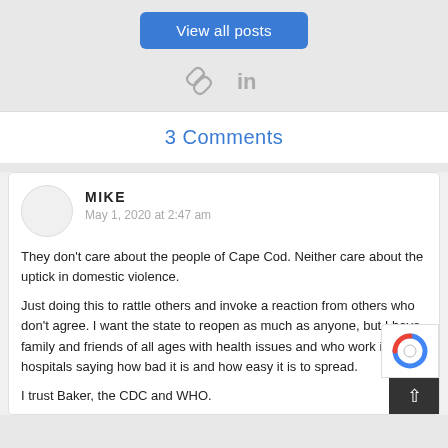View all posts
[Figure (logo): Social share icons: chain link and LinkedIn]
3 Comments
MIKE
May 1, 2020 at 2:47 am
They don't care about the people of Cape Cod. Neither care about the uptick in domestic violence.
Just doing this to rattle others and invoke a reaction from others who don't agree. I want the state to reopen as much as anyone, but I have family and friends of all ages with health issues and who work in hospitals saying how bad it is and how easy it is to spread.
I trust Baker, the CDC and WHO.